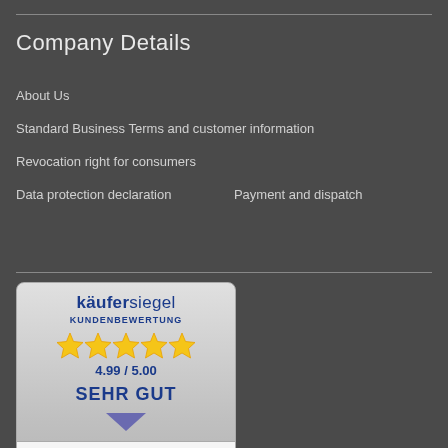Company Details
About Us
Standard Business Terms and customer information
Revocation right for consumers
Data protection declaration
Payment and dispatch
[Figure (other): Käufersiegel Kundenbewertung badge showing 5 stars, rating 4.99/5.00, SEHR GUT, with a review: 5.00 Sterne am 30.06.2016 — 'Super schnelle Lieferung Top']